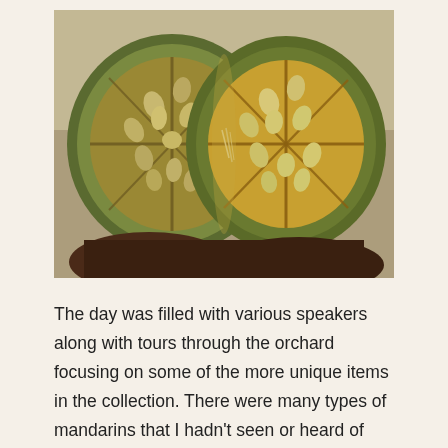[Figure (photo): A close-up photo of a Bael Fruit cut in half, showing the interior with seeds and fibrous sections. The fruit has a green outer rind and yellow-orange interior. A dark-skinned hand is holding the two halves together. The background is blurred and beige/grey.]
The day was filled with various speakers along with tours through the orchard focusing on some of the more unique items in the collection. There were many types of mandarins that I hadn't seen or heard of before, but I wasn't particularly surprised by this. There was really only one piece of fruit that completely wowed me: the Bael Fruit. It has an